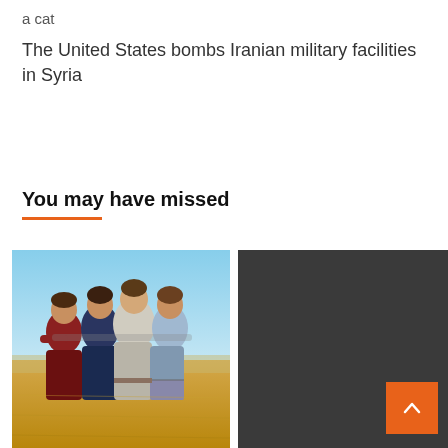a cat
The United States bombs Iranian military facilities in Syria
You may have missed
[Figure (photo): Four young people from behind with arms around each other standing in a golden field under a blue sky]
[Figure (other): Dark gray panel with an orange back-to-top button (chevron up icon) in the bottom right corner]